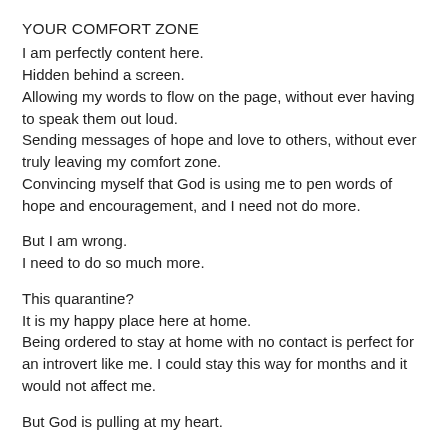YOUR COMFORT ZONE
I am perfectly content here.
Hidden behind a screen.
Allowing my words to flow on the page, without ever having to speak them out loud.
Sending messages of hope and love to others, without ever truly leaving my comfort zone.
Convincing myself that God is using me to pen words of hope and encouragement, and I need not do more.
But I am wrong.
I need to do so much more.
This quarantine?
It is my happy place here at home.
Being ordered to stay at home with no contact is perfect for an introvert like me. I could stay this way for months and it would not affect me.
But God is pulling at my heart.